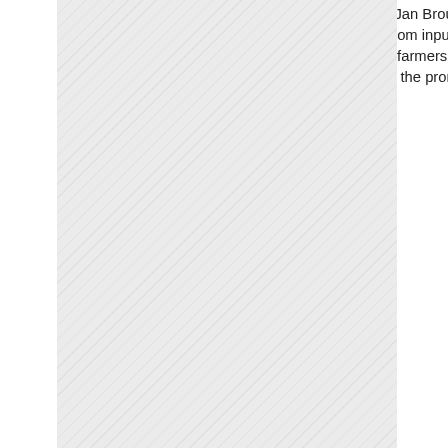[Figure (illustration): Diagonal hatched/striped grey background panel occupying the left portion of the page]
4years. Speaking at the official launch of the projects at his residence in Kololo Hank Jan Brouwer the ambassador of the Netherlands highlighted that the two projects follow the agricultural value chain right from input level by providing access to quality seed to maize farmers and to end level by providing market linkages for the farmers to connect to consumers of their produce.The ambassador added that this would particularly be achieved through the promotion of quality declared seed which is high quality seed produced professionally by a farmer group for